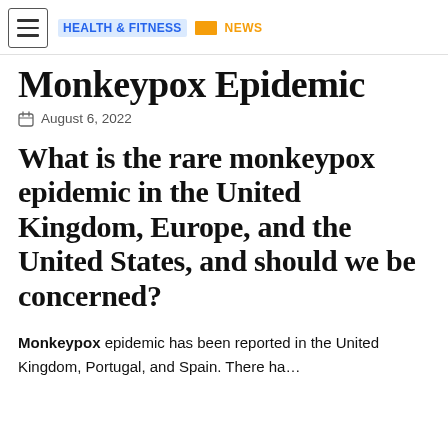HEALTH & FITNESS  NEWS
Monkeypox Epidemic
August 6, 2022
What is the rare monkeypox epidemic in the United Kingdom, Europe, and the United States, and should we be concerned?
Monkeypox epidemic has been reported in the United Kingdom, Portugal, and Spain. There ha...